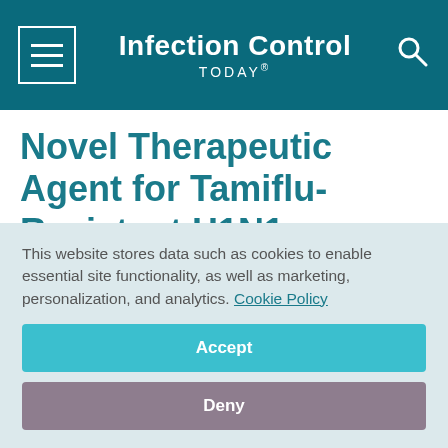Infection Control TODAY®
Novel Therapeutic Agent for Tamiflu-Resistant H1N1 Influenza Virus is Discovered
April 24, 2014
[Figure (other): Social sharing icons row: Facebook, Twitter, LinkedIn, Pinterest, Email]
This website stores data such as cookies to enable essential site functionality, as well as marketing, personalization, and analytics. Cookie Policy
Accept
Deny